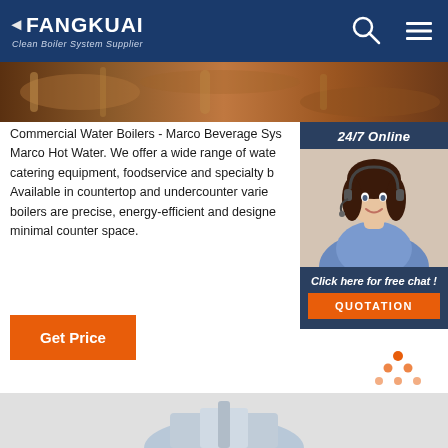FANGKUAI - Clean Boiler System Supplier
[Figure (photo): Hero image strip showing industrial boiler pipes and equipment in brown/copper tones]
[Figure (photo): Sidebar panel with woman wearing headset (customer service), 24/7 Online label, Click here for free chat text, and QUOTATION button]
Commercial Water Boilers - Marco Beverage Sys Marco Hot Water. We offer a wide range of wate catering equipment, foodservice and specialty b Available in countertop and undercounter varie boilers are precise, energy-efficient and designe minimal counter space.
[Figure (other): Get Price orange button]
[Figure (logo): TOP button with orange dots in triangle pattern above orange TOP text]
[Figure (photo): Bottom strip showing partial view of boiler/industrial equipment]